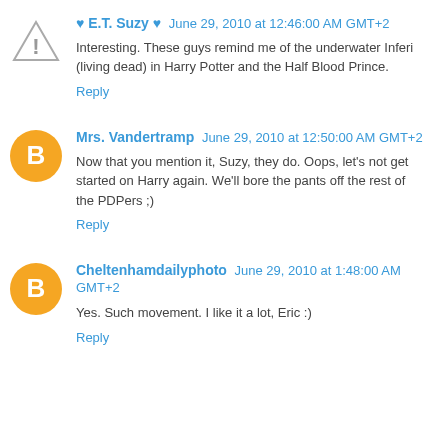♥ E.T. Suzy ♥  June 29, 2010 at 12:46:00 AM GMT+2
Interesting. These guys remind me of the underwater Inferi (living dead) in Harry Potter and the Half Blood Prince.
Reply
Mrs. Vandertramp  June 29, 2010 at 12:50:00 AM GMT+2
Now that you mention it, Suzy, they do. Oops, let's not get started on Harry again. We'll bore the pants off the rest of the PDPers ;)
Reply
Cheltenhamdailyphoto  June 29, 2010 at 1:48:00 AM GMT+2
Yes. Such movement. I like it a lot, Eric :)
Reply